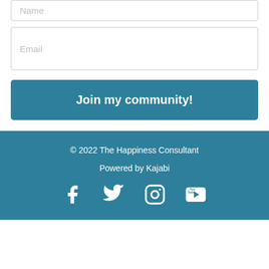Name
Email
Join my community!
© 2022 The Happiness Consultant
Powered by Kajabi
[Figure (other): Social media icons: Facebook, Twitter, Instagram, YouTube]